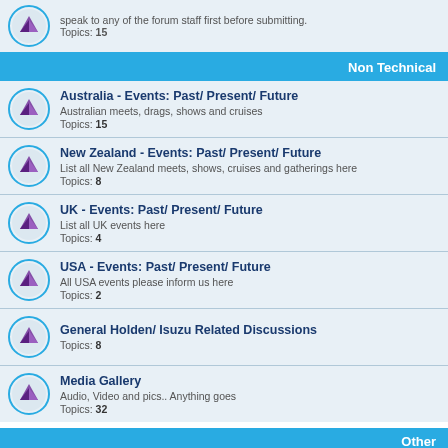speak to any of the forum staff first before submitting. Topics: 15
Non Technical
Australia - Events: Past/ Present/ Future
Australian meets, drags, shows and cruises
Topics: 15
New Zealand - Events: Past/ Present/ Future
List all New Zealand meets, shows, cruises and gatherings here
Topics: 8
UK - Events: Past/ Present/ Future
List all UK events here
Topics: 4
USA - Events: Past/ Present/ Future
All USA events please inform us here
Topics: 2
General Holden/ Isuzu Related Discussions
Topics: 8
Media Gallery
Audio, Video and pics.. Anything goes
Topics: 32
Other
Small Talk
Talk about anything and everything
Topics: 152